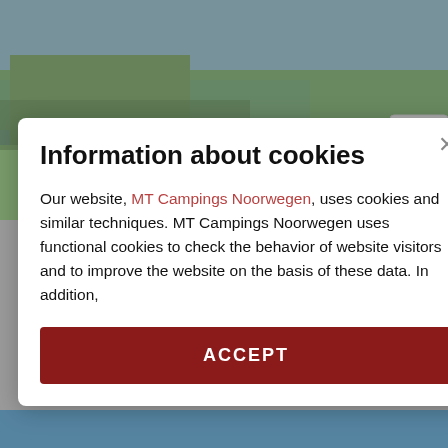[Figure (photo): Camping scene with a red car and caravan parked on green grass near a body of water, with reeds in the background. Two circular icon buttons (caravan and paw print) visible at the bottom right of the image.]
Information about cookies
Our website, MT Campings Noorwegen, uses cookies and similar techniques. MT Campings Noorwegen uses functional cookies to check the behavior of website visitors and to improve the website on the basis of these data. In addition,
ACCEPT
VISIT THE CAMPING WEBSITE